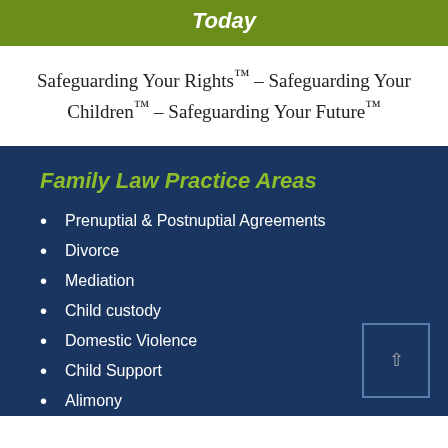Today
Safeguarding Your Rights™ – Safeguarding Your Children™ – Safeguarding Your Future™
Family Law Practice Areas
Prenuptial & Postnuptial Agreements
Divorce
Mediation
Child custody
Domestic Violence
Child Support
Alimony
LGBT Family Law